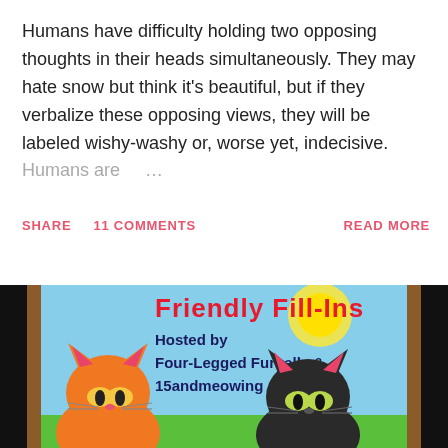Humans have difficulty holding two opposing thoughts in their heads simultaneously. They may hate snow but think it's beautiful, but if they verbalize these opposing views, they will be labeled wishy-washy or, worse yet, indecisive. Humans are …
SHARE   11 COMMENTS   READ MORE
[Figure (illustration): Blog graphic for 'Friendly Fill-Ins' hosted by Four-Legged Furballs & 15andmeowing, showing cartoon orange and black cats with a blue sky and sun background, framed with brown borders on sides.]